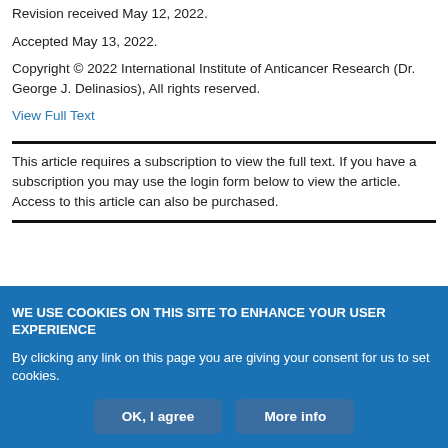Revision received May 12, 2022.
Accepted May 13, 2022.
Copyright © 2022 International Institute of Anticancer Research (Dr. George J. Delinasios), All rights reserved.
View Full Text
This article requires a subscription to view the full text. If you have a subscription you may use the login form below to view the article. Access to this article can also be purchased.
WE USE COOKIES ON THIS SITE TO ENHANCE YOUR USER EXPERIENCE
By clicking any link on this page you are giving your consent for us to set cookies.
OK, I agree
More info